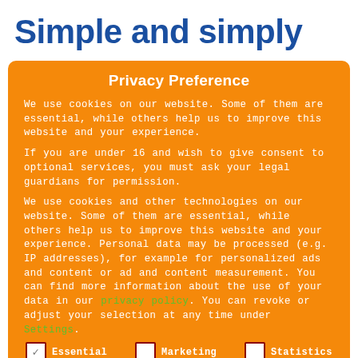Simple and simply
Privacy Preference
We use cookies on our website. Some of them are essential, while others help us to improve this website and your experience.
If you are under 16 and wish to give consent to optional services, you must ask your legal guardians for permission.
We use cookies and other technologies on our website. Some of them are essential, while others help us to improve this website and your experience. Personal data may be processed (e.g. IP addresses), for example for personalized ads and content or ad and content measurement. You can find more information about the use of your data in our privacy policy. You can revoke or adjust your selection at any time under Settings.
Essential
Marketing
Statistics
External Media